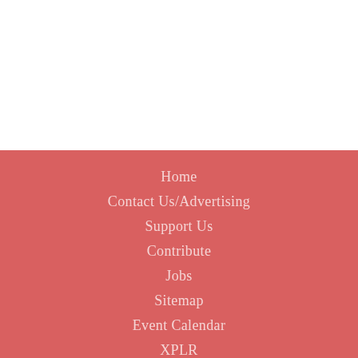Home
Contact Us/Advertising
Support Us
Contribute
Jobs
Sitemap
Event Calendar
XPLR
Sponsored Listings